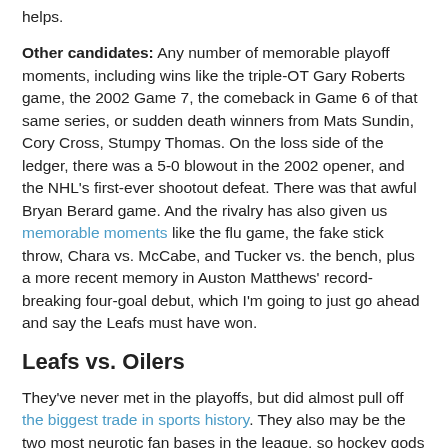helps.
Other candidates: Any number of memorable playoff moments, including wins like the triple-OT Gary Roberts game, the 2002 Game 7, the comeback in Game 6 of that same series, or sudden death winners from Mats Sundin, Cory Cross, Stumpy Thomas. On the loss side of the ledger, there was a 5-0 blowout in the 2002 opener, and the NHL's first-ever shootout defeat. There was that awful Bryan Berard game. And the rivalry has also given us memorable moments like the flu game, the fake stick throw, Chara vs. McCabe, and Tucker vs. the bench, plus a more recent memory in Auston Matthews' record-breaking four-goal debut, which I'm going to just go ahead and say the Leafs must have won.
Leafs vs. Oilers
They've never met in the playoffs, but did almost pull off the biggest trade in sports history. They also may be the two most neurotic fan bases in the league, so hockey gods help us if they actually do get a postseason matchup this year.